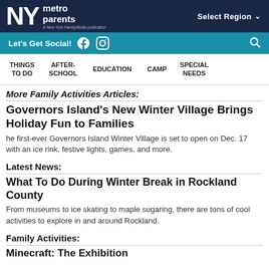NY metro parents — A New York FamilyMedia publication | Select Region
Let's Get Social!
THINGS TO DO | AFTER-SCHOOL | EDUCATION | CAMP | SPECIAL NEEDS
More Family Activities Articles:
Governors Island's New Winter Village Brings Holiday Fun to Families
he first-ever Governors Island Winter Village is set to open on Dec. 17 with an ice rink, festive lights, games, and more.
Latest News:
What To Do During Winter Break in Rockland County
From museums to ice skating to maple sugaring, there are tons of cool activities to explore in and around Rockland.
Family Activities:
Minecraft: The Exhibition